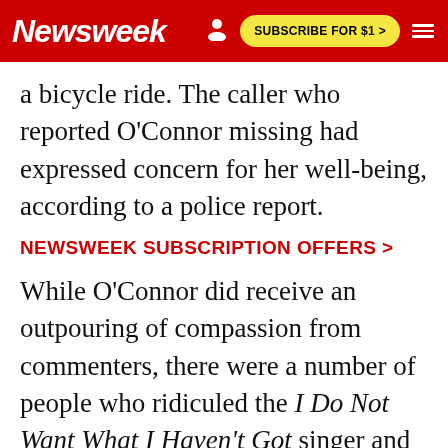Newsweek | SUBSCRIBE FOR $1 >
a bicycle ride. The caller who reported O'Connor missing had expressed concern for her well-being, according to a police report.
NEWSWEEK SUBSCRIPTION OFFERS >
While O'Connor did receive an outpouring of compassion from commenters, there were a number of people who ridiculed the I Do Not Want What I Haven't Got singer and blamed her toxic relationship choices for her current predicament. O'Connor divorced her fourth